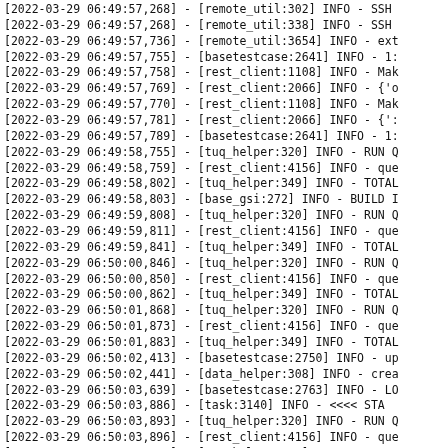[2022-03-29 06:49:57,268] - [remote_util:302] INFO - SSH
[2022-03-29 06:49:57,268] - [remote_util:338] INFO - SSH
[2022-03-29 06:49:57,736] - [remote_util:3654] INFO - ext
[2022-03-29 06:49:57,755] - [basetestcase:2641] INFO - 1:
[2022-03-29 06:49:57,758] - [rest_client:1108] INFO - Mak
[2022-03-29 06:49:57,769] - [rest_client:2066] INFO - {'o
[2022-03-29 06:49:57,770] - [rest_client:1108] INFO - Mak
[2022-03-29 06:49:57,781] - [rest_client:2066] INFO - {':
[2022-03-29 06:49:57,789] - [basetestcase:2641] INFO - 1:
[2022-03-29 06:49:58,755] - [tuq_helper:320] INFO - RUN Q
[2022-03-29 06:49:58,759] - [rest_client:4156] INFO - que
[2022-03-29 06:49:58,802] - [tuq_helper:349] INFO - TOTAL
[2022-03-29 06:49:58,803] - [base_gsi:272] INFO - BUILD I
[2022-03-29 06:49:59,808] - [tuq_helper:320] INFO - RUN Q
[2022-03-29 06:49:59,811] - [rest_client:4156] INFO - que
[2022-03-29 06:49:59,841] - [tuq_helper:349] INFO - TOTAL
[2022-03-29 06:50:00,846] - [tuq_helper:320] INFO - RUN Q
[2022-03-29 06:50:00,850] - [rest_client:4156] INFO - que
[2022-03-29 06:50:00,862] - [tuq_helper:349] INFO - TOTAL
[2022-03-29 06:50:01,868] - [tuq_helper:320] INFO - RUN Q
[2022-03-29 06:50:01,873] - [rest_client:4156] INFO - que
[2022-03-29 06:50:01,883] - [tuq_helper:349] INFO - TOTAL
[2022-03-29 06:50:02,413] - [basetestcase:2750] INFO - up
[2022-03-29 06:50:02,441] - [data_helper:308] INFO - crea
[2022-03-29 06:50:03,639] - [basetestcase:2763] INFO - LO
[2022-03-29 06:50:03,886] - [task:3140] INFO -  <<<< STA
[2022-03-29 06:50:03,893] - [tuq_helper:320] INFO - RUN Q
[2022-03-29 06:50:03,896] - [rest_client:4156] INFO - que
[2022-03-29 06:50:03,900] - [tuq_helper:349] INFO - TOTAL
[2022-03-29 06:50:03,900] - [task:3150] INFO - {[reques